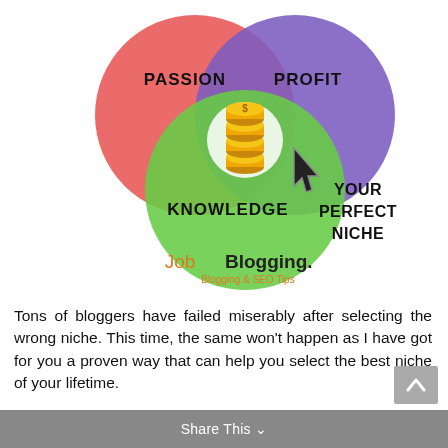[Figure (infographic): Venn diagram with three overlapping circles: red circle labeled PASSION (top left), purple circle labeled PROFIT (top right), green circle labeled KNOWLEDGE (bottom center). The overlapping center region contains a gold coin stack icon. A black cursor arrow points to the overlap. Text to the right reads YOUR PERFECT NICHE. Below the diagram is the JobBlogging. logo with tagline Blogging & SEO Tips.]
Tons of bloggers have failed miserably after selecting the wrong niche. This time, the same won’t happen as I have got for you a proven way that can help you select the best niche of your lifetime.
Share This